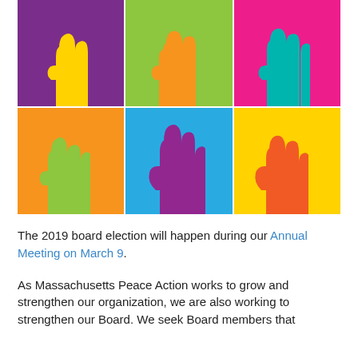[Figure (illustration): Colorful pop-art style illustration of raised hands in a 3x2 grid of colored panels. Top row: purple panel with yellow hand silhouette, green panel with orange hand silhouette, hot-pink panel with teal hand silhouette. Bottom row: orange panel with green hand silhouette, cyan/blue panel with magenta/purple hand silhouette, yellow panel with orange-red hand silhouette.]
The 2019 board election will happen during our Annual Meeting on March 9.
As Massachusetts Peace Action works to grow and strengthen our organization, we are also working to strengthen our Board. We seek Board members that